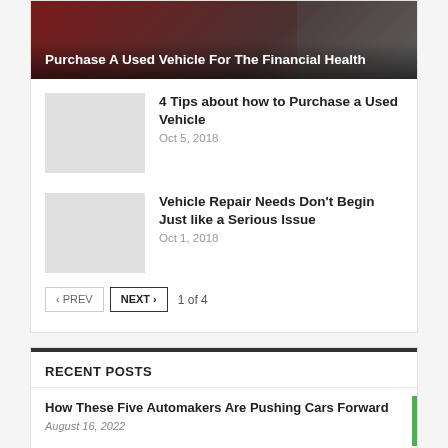[Figure (photo): Hero image showing a used vehicle scene with dark red/maroon tones and a title overlay]
Purchase A Used Vehicle For The Financial Health
[Figure (photo): Thumbnail placeholder image (light gray rectangle)]
4 Tips about how to Purchase a Used Vehicle
Oct 5, 2018
[Figure (photo): Thumbnail placeholder image (light gray rectangle)]
Vehicle Repair Needs Don't Begin Just like a Serious Issue
Oct 1, 2018
‹ PREV   NEXT ›   1 of 4
RECENT POSTS
How These Five Automakers Are Pushing Cars Forward
August 16, 2022
Torque Converter Operating Principles and Advantages